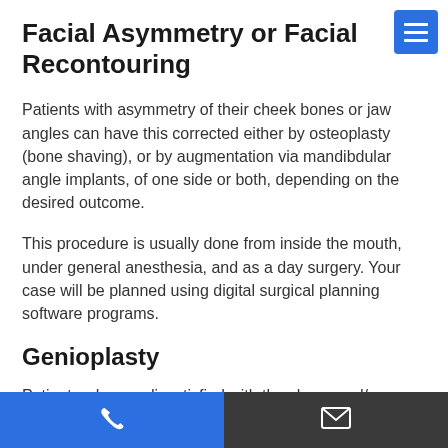Facial Asymmetry or Facial Recontouring
Patients with asymmetry of their cheek bones or jaw angles can have this corrected either by osteoplasty (bone shaving), or by augmentation via mandibdular angle implants, of one side or both, depending on the desired outcome.
This procedure is usually done from inside the mouth, under general anesthesia, and as a day surgery. Your case will be planned using digital surgical planning software programs.
Genioplasty
Patients who are dissatisfied with the shape and/or projection of their chin can undergo a genioplasty